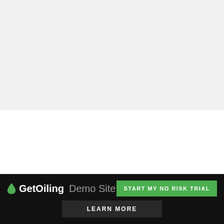[Figure (other): Gray background placeholder area at the top of the page]
EXPERIENCE OUR HEALTHY,
GetOiling Demo Site
START MY NO RISK TRIAL
LEARN MORE